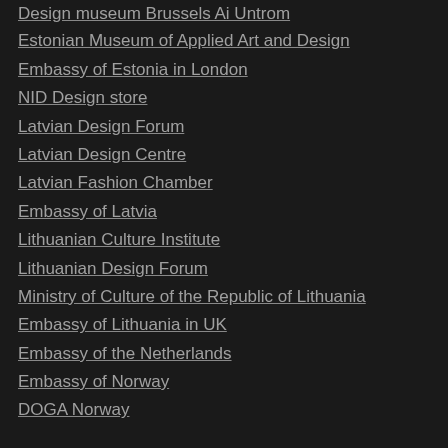Design museum Brussels Ai Untrom
Estonian Museum of Applied Art and Design
Embassy of Estonia in London
NID Design store
Latvian Design Forum
Latvian Design Centre
Latvian Fashion Chamber
Embassy of Latvia
Lithuanian Culture Institute
Lithuanian Design Forum
Ministry of Culture of the Republic of Lithuania
Embassy of Lithuania in UK
Embassy of the Netherlands
Embassy of Norway
DOGA Norway